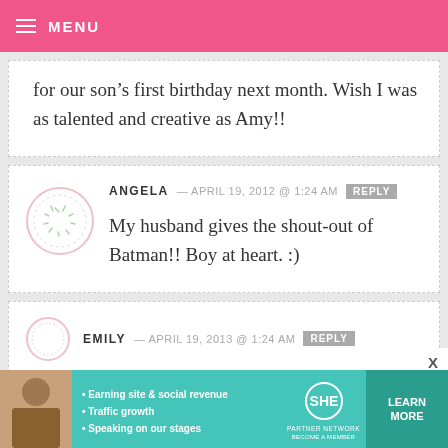MENU
for our son's first birthday next month. Wish I was as talented and creative as Amy!!
ANGELA — APRIL 19, 2012 @ 1:24 AM  REPLY
My husband gives the shout-out of Batman!! Boy at heart. :)
EMILY — APRIL 19, 2012 @ 1:24 AM  REPLY